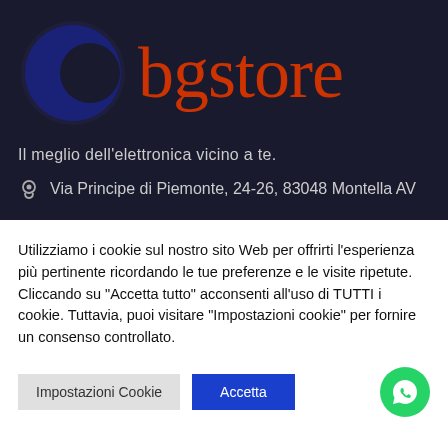[Figure (logo): bgstore logo: blue crescent/circle icon on dark background with red serif text 'bgstore']
Il meglio dell'elettronica vicino a te.
Via Principe di Piemonte, 24-26, 83048 Montella AV
Utilizziamo i cookie sul nostro sito Web per offrirti l'esperienza più pertinente ricordando le tue preferenze e le visite ripetute. Cliccando su "Accetta tutto" acconsenti all'uso di TUTTI i cookie. Tuttavia, puoi visitare "Impostazioni cookie" per fornire un consenso controllato.
Impostazioni Cookie
Accetta